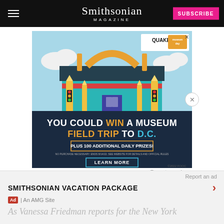Smithsonian MAGAZINE | SUBSCRIBE
[Figure (photo): Quaker Museum Day advertisement showing a cartoon museum building with pencils as columns and rulers as arches. Text reads: YOU COULD WIN A MUSEUM FIELD TRIP TO D.C. PLUS 100 ADDITIONAL DAILY PRIZES! LEARN MORE. ©2022 FOOC]
Report an ad
Report an ad
SMITHSONIAN VACATION PACKAGE
Ad | An AMG Site
As Vanessa Friedman reports for the New York